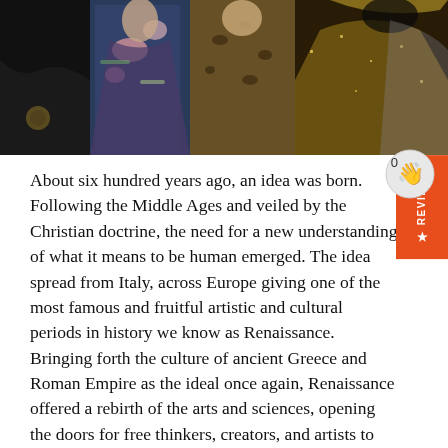[Figure (photo): A fashion show photo strip showing multiple models wearing ornate, colorful, and embellished costumes — including black, floral, leopard print, and gold outfits.]
About six hundred years ago, an idea was born. Following the Middle Ages and veiled by the Christian doctrine, the need for a new understanding of what it means to be human emerged. The idea spread from Italy, across Europe giving one of the most famous and fruitful artistic and cultural periods in history we know as Renaissance. Bringing forth the culture of ancient Greece and Roman Empire as the ideal once again, Renaissance offered a rebirth of the arts and sciences, opening the doors for free thinkers, creators, and artists to blossom.
In Italy, where Renaissance first emerged, the new period was instigated by socio-economic changes as well. Patronage of the arts was not the privilege of the church